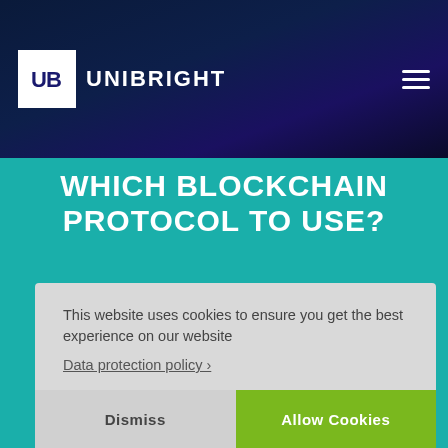[Figure (logo): Unibright logo: white UB icon in a square with UNIBRIGHT text to the right, on dark navy blue background with hamburger menu icon top right]
WHICH BLOCKCHAIN PROTOCOL TO USE?
We help you finding the perfect protocol for your use case.
This website uses cookies to ensure you get the best experience on our website
Data protection policy ›
Dismiss
Allow Cookies